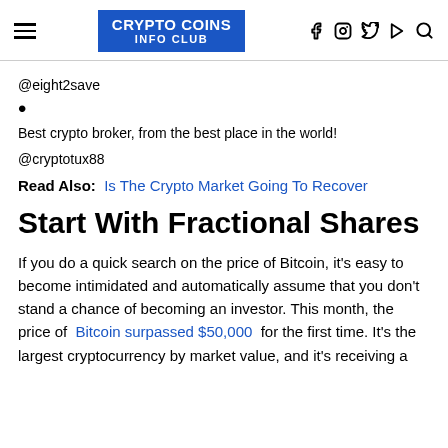CRYPTO COINS INFO CLUB
@eight2save
Best crypto broker, from the best place in the world!
@cryptotux88
Read Also: Is The Crypto Market Going To Recover
Start With Fractional Shares
If you do a quick search on the price of Bitcoin, it's easy to become intimidated and automatically assume that you don't stand a chance of becoming an investor. This month, the price of Bitcoin surpassed $50,000 for the first time. It's the largest cryptocurrency by market value, and it's receiving a